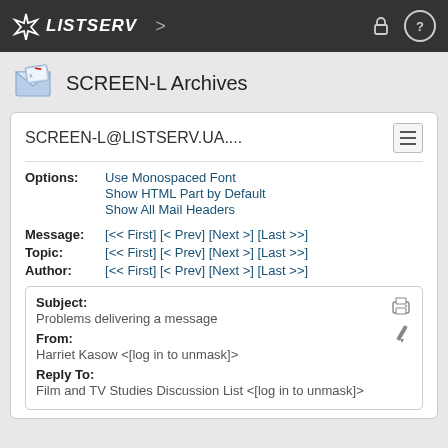LISTSERV
SCREEN-L Archives
SCREEN-L@LISTSERV.UA....
Options: Use Monospaced Font | Show HTML Part by Default | Show All Mail Headers
Message: [<< First] [< Prev] [Next >] [Last >>]
Topic: [<< First] [< Prev] [Next >] [Last >>]
Author: [<< First] [< Prev] [Next >] [Last >>]
Subject: Problems delivering a message
From: Harriet Kasow <[log in to unmask]>
Reply To: Film and TV Studies Discussion List <[log in to unmask]>